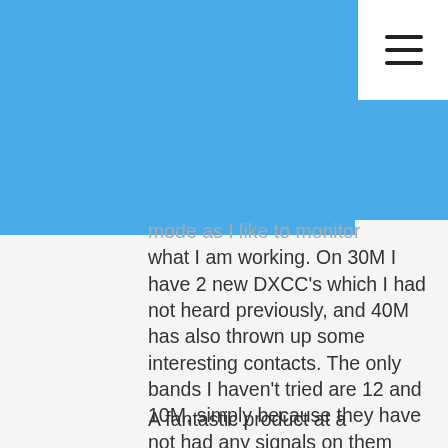[Figure (screenshot): Blue header bar with hamburger menu icon on white background in top right]
mode as I like to monitor what I am working. On 30M I have 2 new DXCC's which I had not heard previously, and 40M has also thrown up some interesting contacts. The only bands I haven't tried are 12 and 10M, simply because they have not had any signals on them when tuning through.
A fantastic product at a